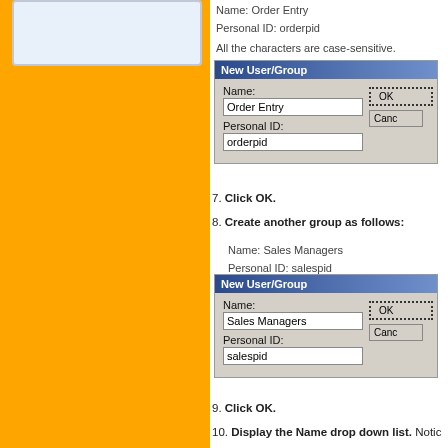Name: Order Entry
Personal ID: orderpid
All the characters are case-sensitive.
[Figure (screenshot): Dialog box titled 'New User/Group' with Name field filled 'Order Entry' and Personal ID field filled 'orderpid', with OK and Cancel buttons]
7. Click OK.
8. Create another group as follows:
Name: Sales Managers
Personal ID: salespid
[Figure (screenshot): Dialog box titled 'New User/Group' with Name field filled 'Sales Managers' and Personal ID field filled 'salespid', with OK and Cancel buttons]
9. Click OK.
10. Display the Name drop down list. Notic